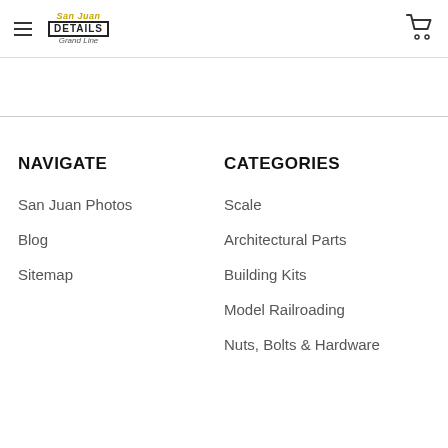San Juan Details — Grand Line
NAVIGATE
San Juan Photos
Blog
Sitemap
CATEGORIES
Scale
Architectural Parts
Building Kits
Model Railroading
Nuts, Bolts & Hardware